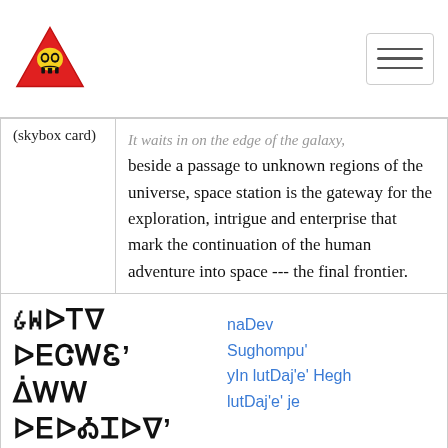[Figure (logo): Red triangular warning sign with a skull/alien figure inside, in yellow and black]
[Figure (other): Hamburger menu icon (three horizontal lines) in a rounded rectangle border]
| (skybox card) | It waits in on the edge of the galaxy, beside a passage to unknown regions of the universe, space station is the gateway for the exploration, intrigue and enterprise that mark the continuation of the human adventure into space --- the final frontier. |
| (sentence) | [Klingon script] naDev Sughompu' yIn lutDaj'e' Hegh lutDaj'e' je
Hear now,
All of you here,
Of the life and death |
naDev Sughompu' yIn lutDaj'e' Hegh lutDaj'e' je
Hear now,
All of you here,
Of the life and death